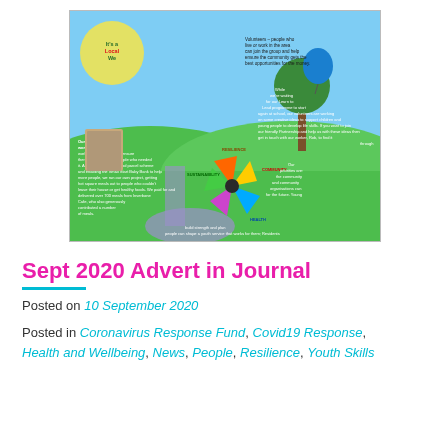[Figure (infographic): Colourful community infographic showing volunteers, green hills, a tree with blue balloon, a pinwheel diagram with labels (Community, Health, Resilience, Sustainability), two people standing outside, and text about volunteer activities during lockdown, food parcels, meal deliveries, and youth services. Title reads 'It's a Local We Community...' with text about support during lockdown, 700 meals delivered, and community priorities.]
Sept 2020 Advert in Journal
Posted on 10 September 2020
Posted in Coronavirus Response Fund, Covid19 Response, Health and Wellbeing, News, People, Resilience, Youth Skills